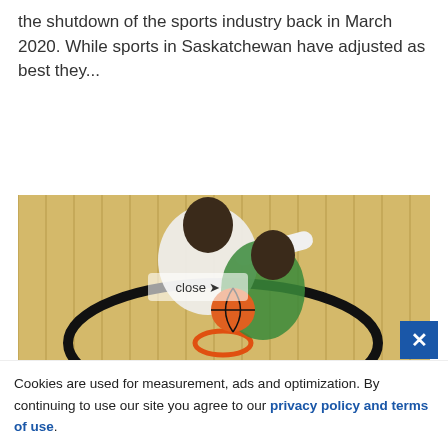the shutdown of the sports industry back in March 2020. While sports in Saskatchewan have adjusted as best they...
Continue Reading
[Figure (photo): Overhead aerial view of two basketball players, one in white and one in green/teal jersey, competing for the ball near a basketball hoop on a hardwood court. The word 'close' with an arrow icon is overlaid on the image.]
Cookies are used for measurement, ads and optimization. By continuing to use our site you agree to our privacy policy and terms of use.